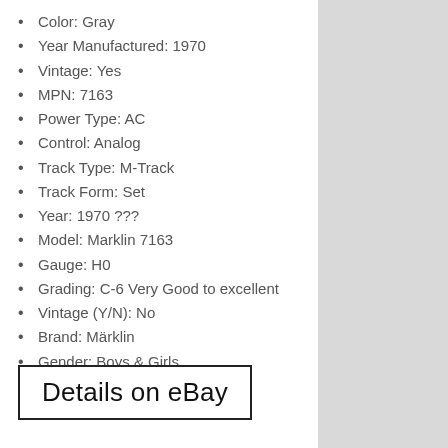Color: Gray
Year Manufactured: 1970
Vintage: Yes
MPN: 7163
Power Type: AC
Control: Analog
Track Type: M-Track
Track Form: Set
Year: 1970 ???
Model: Marklin 7163
Gauge: H0
Grading: C-6 Very Good to excellent
Vintage (Y/N): No
Brand: Märklin
Gender: Boys & Girls
Power Supply: AC
Recommended Age Range: 8
Details on eBay